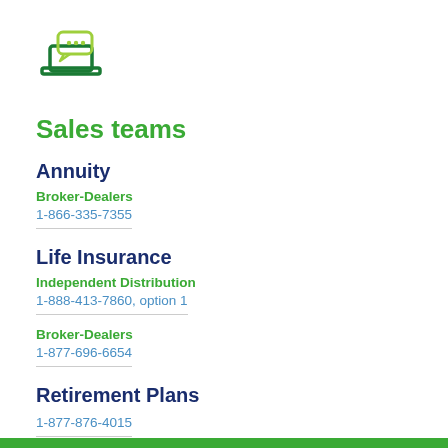[Figure (illustration): Green icon of a laptop with a speech bubble containing ellipsis (chat icon)]
Sales teams
Annuity
Broker-Dealers
1-866-335-7355
Life Insurance
Independent Distribution
1-888-413-7860, option 1
Broker-Dealers
1-877-696-6654
Retirement Plans
1-877-876-4015